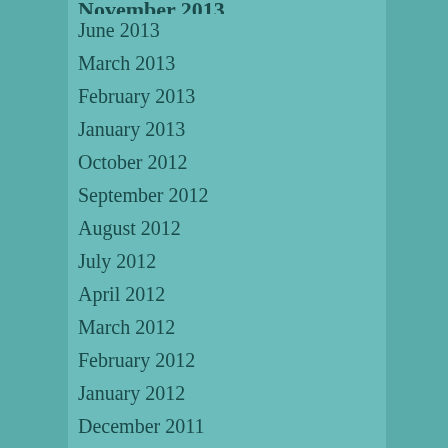November 2013
June 2013
March 2013
February 2013
January 2013
October 2012
September 2012
August 2012
July 2012
April 2012
March 2012
February 2012
January 2012
December 2011
November 2011
August 2011
June 2011
April 2011
March 2011
February 2011
April 2010